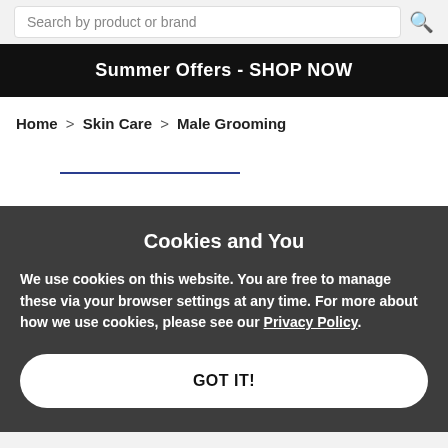Search by product or brand
Summer Offers - SHOP NOW
Home > Skin Care > Male Grooming
[Figure (other): Horizontal blue divider line]
Cookies and You
We use cookies on this website. You are free to manage these via your browser settings at any time. For more about how we use cookies, please see our Privacy Policy.
GOT IT!